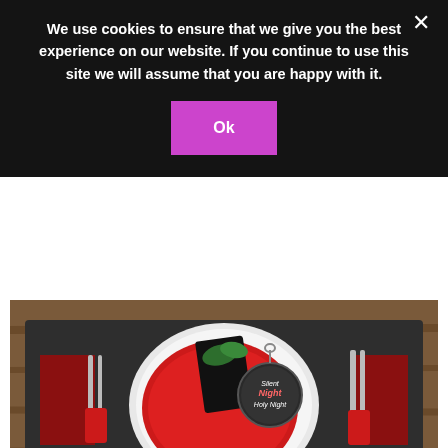We use cookies to ensure that we give you the best experience on our website. If you continue to use this site we will assume that you are happy with it.
Ok
[Figure (photo): A Christmas table setting with a white plate, red charger plate, black napkin with greenery, a chalkboard ornament tag reading 'Silent Night Holy Night', red-handled cutlery on a dark slate placemat with a patterned red and black runner. Watermark reads 'Celebrate & Decorate'.]
I decided that I would go traditional, with lots of red, and some touches of black to mesh with the chalkboard ornaments.  This is a much simpler table than I usually style